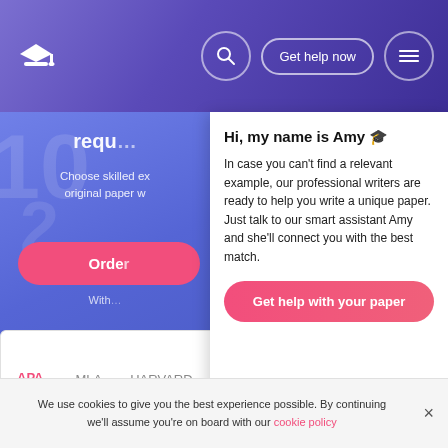[Figure (screenshot): Website header navigation bar with graduation cap logo, search icon, 'Get help now' button, and hamburger menu icon on purple/indigo gradient background]
[Figure (screenshot): Blue hero section (left half) with partial text 'requ...', 'Choose skilled ex...', 'original paper w...', pink Order button, and 'With...' text]
Hi, my name is Amy 🎓
In case you can't find a relevant example, our professional writers are ready to help you write a unique paper. Just talk to our smart assistant Amy and she'll connect you with the best match.
Get help with your paper
APA  MLA  HARVARD  CHICAGO  ASA  IEEE
Marijuana and Cannabis: Effects, Uses and Legalization.
We use cookies to give you the best experience possible. By continuing we'll assume you're on board with our cookie policy